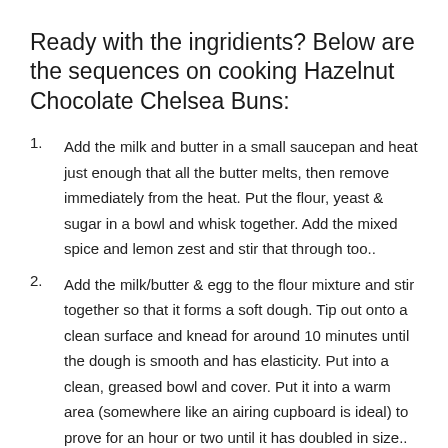Ready with the ingridients? Below are the sequences on cooking Hazelnut Chocolate Chelsea Buns:
Add the milk and butter in a small saucepan and heat just enough that all the butter melts, then remove immediately from the heat. Put the flour, yeast & sugar in a bowl and whisk together. Add the mixed spice and lemon zest and stir that through too..
Add the milk/butter & egg to the flour mixture and stir together so that it forms a soft dough. Tip out onto a clean surface and knead for around 10 minutes until the dough is smooth and has elasticity. Put into a clean, greased bowl and cover. Put it into a warm area (somewhere like an airing cupboard is ideal) to prove for an hour or two until it has doubled in size..
Knock the air out of the dough so that it goes back to the original size and then, on a lightly flour, clean surface, roll out to around 52 x 25 centimetres. Cover the whole of the top of the